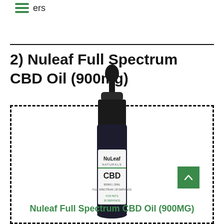ers
2) Nuleaf Full Spectrum CBD Oil (900mg)
[Figure (photo): A dark glass dropper bottle of NuLeaf Naturals Full Spectrum CBD Oil 900mg, with a black dropper cap and white label showing the NuLeaf Naturals CBD branding.]
Nuleaf Full Spectrum CBD Oil (900MG)